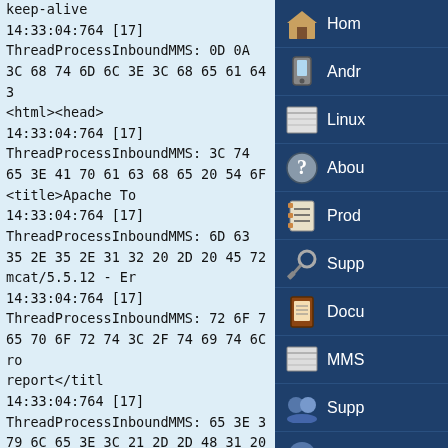keep-alive
14:33:04:764 [17] ThreadProcessInboundMMS: 0D 0A 3C 68 74 6D 6C 3E 3C 68 65 61 64 3
<html><head>
14:33:04:764 [17] ThreadProcessInboundMMS: 3C 74 65 3E 41 70 61 63 68 65 20 54 6F
<title>Apache To
14:33:04:764 [17] ThreadProcessInboundMMS: 6D 63 35 2E 35 2E 31 32 20 2D 20 45 72
mcat/5.5.12 - Er
14:33:04:764 [17] ThreadProcessInboundMMS: 72 6F 74 65 70 6F 72 74 3C 2F 74 69 74 6C 72 6F report</titl
14:33:04:764 [17] ThreadProcessInboundMMS: 65 3E 3C 21 2D 2D 48 31 20 48
<style><!--H1
14:33:04:764 [17] ThreadProcessInboundMMS: 7B 66 2D 66 61 6D 69 6C 79 3A 54 61 68 7B
family:Tah
14:33:04:764 [17]
Home
Android
Linux
About
Products
Support
Documentation
MMS
Support
...